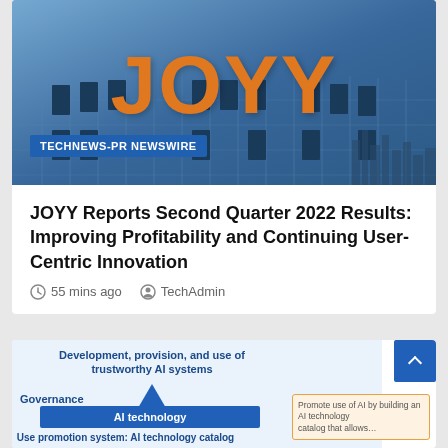[Figure (photo): JOYY corporate building exterior with large orange JOYY logo on glass facade, cityscape in background, with TECHNEWS-PR NEWSWIRE badge overlay]
JOYY Reports Second Quarter 2022 Results: Improving Profitability and Continuing User-Centric Innovation
55 mins ago   TechAdmin
[Figure (infographic): Partial AI governance diagram showing: Development, provision, and use of trustworthy AI systems at top, with arrow pointing up, Governance label and AI technology blue box, Use promotion system: AI technology catalog label, and Promote use of AI by building an AI technology catalog box on right side.]